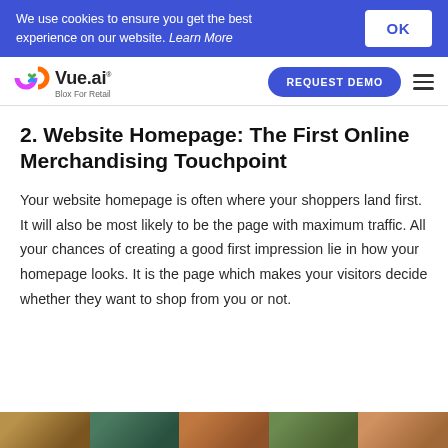We use cookies to ensure you get the best experience on our website. Learn More | OK
Vue.ai Blox For Retail | REQUEST DEMO
2. Website Homepage: The First Online Merchandising Touchpoint
Your website homepage is often where your shoppers land first. It will also be most likely to be the page with maximum traffic. All your chances of creating a good first impression lie in how your homepage looks. It is the page which makes your visitors decide whether they want to shop from you or not.
[Figure (photo): Partial bottom strip showing product images from a retail website]